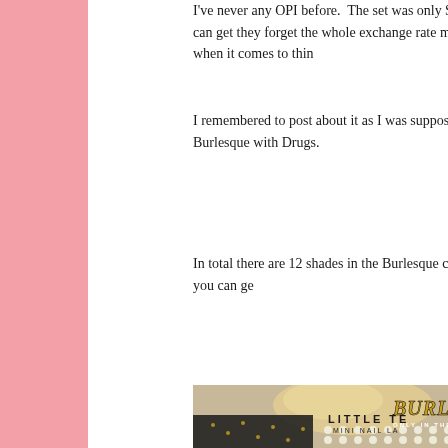I've never any OPI before.  The set was only $12.50 but you can get they forget the whole exchange rate mechanism when it comes to thin
I remembered to post about it as I was supposed to see Burlesque with Drugs.
In total there are 12 shades in the Burlesque collection and you can ge
[Figure (photo): Photo showing OPI Burlesque collection nail polish set with a Burlesque movie poster featuring a woman in a black corset. Text reads BURLESG, ONLY IN THE, LITTLE TE, MINI NAIL LA]